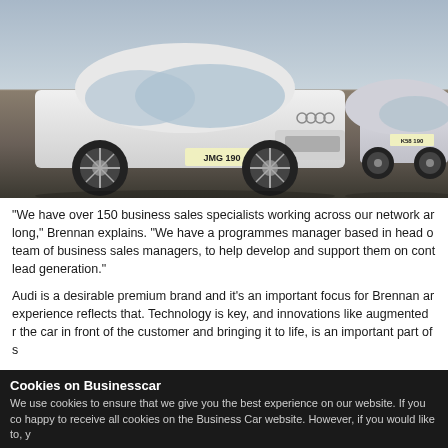[Figure (photo): Two white Audi cars parked on a grey tarmac/gravel surface under an overcast sky. The front car shows registration plate JMG 190, and a second car is visible to the right.]
"We have over 150 business sales specialists working across our network ar long," Brennan explains. "We have a programmes manager based in head o team of business sales managers, to help develop and support them on cont lead generation."
Audi is a desirable premium brand and it's an important focus for Brennan ar experience reflects that. Technology is key, and innovations like augmented r the car in front of the customer and bringing it to life, is an important part of s
"An Audi dealership is a nice environment to be in, and when our business sa that they take that with them," Brennan explains. "The tech available needs t customer the best impression possible, and we're still developing things like t
"With so many business sales specialists based in the centres to give them a
Cookies on Businesscar
We use cookies to ensure that we give you the best experience on our website. If you co happy to receive all cookies on the Business Car website. However, if you would like to, y